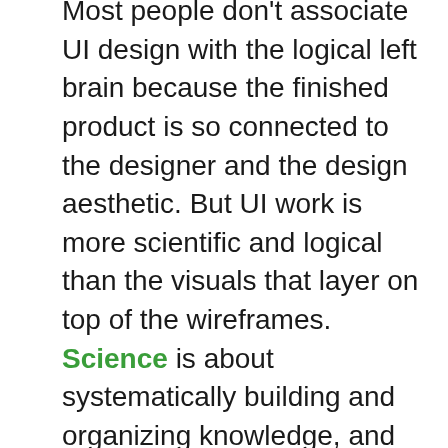Most people don't associate UI design with the logical left brain because the finished product is so connected to the designer and the design aesthetic. But UI work is more scientific and logical than the visuals that layer on top of the wireframes. Science is about systematically building and organizing knowledge, and the best usability draws on the logical left brain as a foundation to organize knowledge and ability. This foundation gives the right brain freedom to create, and it often sparks innovation. In our framework, we use the 9 categories of our UI Framework to assure we aren't overlooking anything important when it comes to adding value.